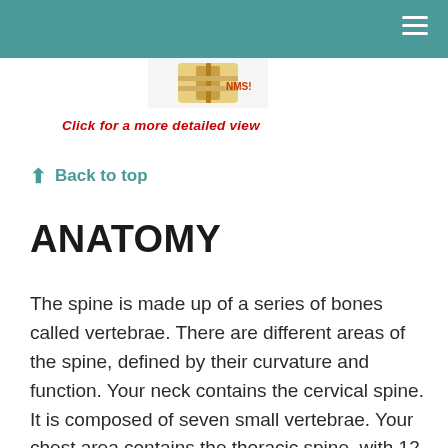[Figure (illustration): Partial spine illustration image visible at top center of page]
Click for a more detailed view
⬆ Back to top
ANATOMY
The spine is made up of a series of bones called vertebrae.  There are different areas of the spine, defined by their curvature and function.  Your neck contains the cervical spine.  It is composed of seven small vertebrae.  Your chest area contains the thoracic spine, with 12 vertebrae.  The lumbar spine is located at and below your waist.  It contains five large vertebrae.  The remainder of the lower vertebrae in the spine are fused or shaped